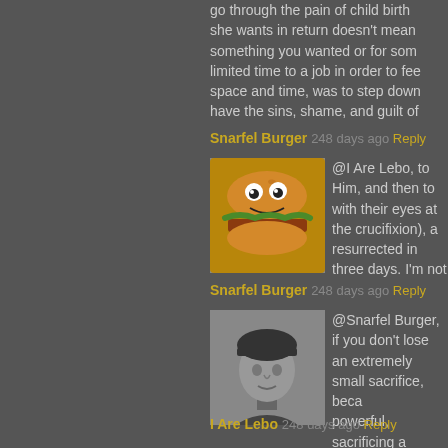go through the pain of child birth … she wants in return doesn't mean something you wanted or for some limited time to a job in order to fee space and time, was to step down have the sins, shame, and guilt of
Snarfel Burger 248 days ago Reply
[Figure (photo): Cartoon burger avatar with googly eyes]
@I Are Lebo, to Him, and then to with their eyes at the crucifixion), a resurrected in three days. I'm not
Snarfel Burger 248 days ago Reply
[Figure (photo): Black and white photo of a person]
@Snarfel Burger, if you don't lose an extremely small sacrifice, beca powerful, sacrificing a weekend is you have in unending supply. Esp was God and would also have eve before he went in. That would be l foresaw that you have to get a roo things. Firstly, appealing to outlier second child due to complications from the COMPLICATIONS. They
I Are Lebo 248 days ago Reply